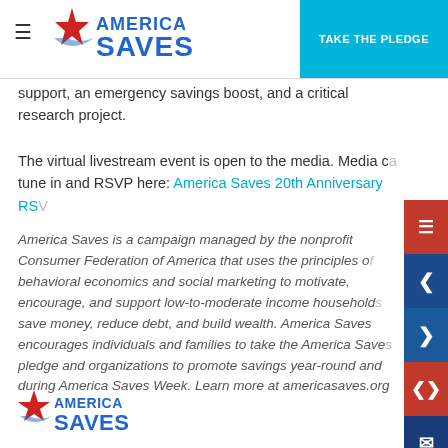America Saves — TAKE THE PLEDGE
support, an emergency savings boost, and a critical research project.
The virtual livestream event is open to the media. Media can tune in and RSVP here: America Saves 20th Anniversary RSVP
America Saves is a campaign managed by the nonprofit Consumer Federation of America that uses the principles of behavioral economics and social marketing to motivate, encourage, and support low-to-moderate income households save money, reduce debt, and build wealth. America Saves encourages individuals and families to take the America Saves pledge and organizations to promote savings year-round and during America Saves Week. Learn more at americasaves.org
[Figure (logo): America Saves logo at bottom left — red star with blue swoosh and text AMERICA SAVES in blue]